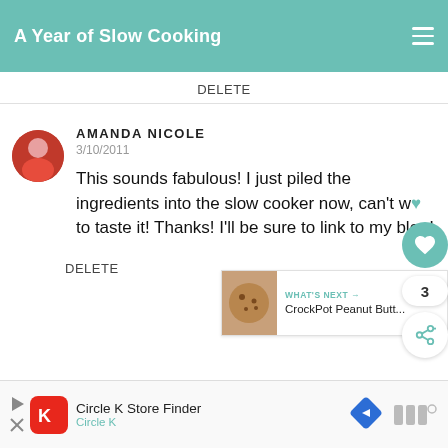A Year of Slow Cooking
DELETE
AMANDA NICOLE
3/10/2011
This sounds fabulous! I just piled the ingredients into the slow cooker now, can't wait to taste it! Thanks! I'll be sure to link to my blog!
DELETE
WHAT'S NEXT → CrockPot Peanut Butt...
[Figure (screenshot): Advertisement banner: Circle K Store Finder, Circle K]
3